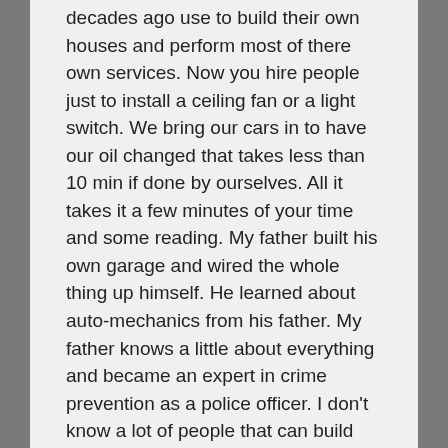decades ago use to build their own houses and perform most of there own services. Now you hire people just to install a ceiling fan or a light switch. We bring our cars in to have our oil changed that takes less than 10 min if done by ourselves. All it takes it a few minutes of your time and some reading. My father built his own garage and wired the whole thing up himself. He learned about auto-mechanics from his father. My father knows a little about everything and became an expert in crime prevention as a police officer. I don't know a lot of people that can build there own garage and do their main profession as well. Shouldn't even basic knowledge be applied when using a computer as well? I work for the cable company and you would be surprised how many people cant even turn on their TV. Would you call the highway dept if your car broke down?
The operating systems that are available today, such as Linux, Windows and Mac OS X certainly have their difficulties, but for the most part they have become very easy to use. Since I've used all three I'd say the easiest to use is Mac. I've seen books in Borders that are as thin as a